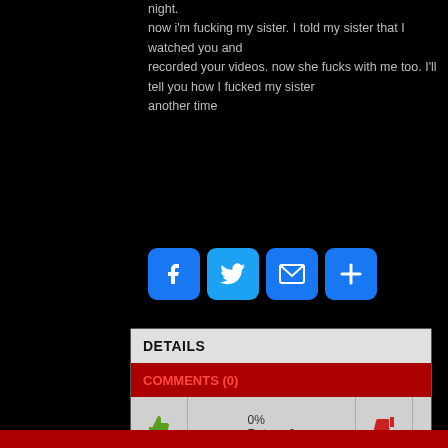night.
now i'm fucking my sister. I told my sister that I watched you and
recorded your videos. now she fucks with me too. I'll tell you how I fucked my sister
another time
[Figure (other): Social share buttons: Facebook, Twitter, Email, Plus]
DETAILS
COMMENTS (0)
0%
Rates : 0
bar  extreme  FSsnYM_yB0gJ:sex  kaviar  mom  tube  xxx
Youporn